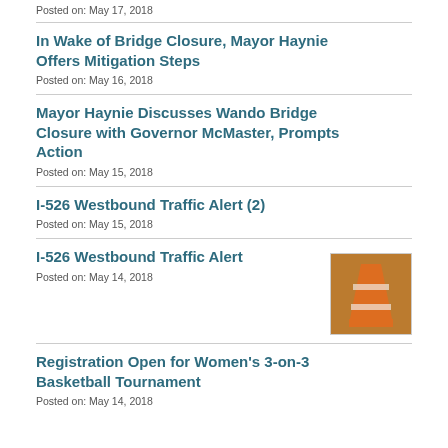Posted on: May 17, 2018
In Wake of Bridge Closure, Mayor Haynie Offers Mitigation Steps
Posted on: May 16, 2018
Mayor Haynie Discusses Wando Bridge Closure with Governor McMaster, Prompts Action
Posted on: May 15, 2018
I-526 Westbound Traffic Alert (2)
Posted on: May 15, 2018
I-526 Westbound Traffic Alert
Posted on: May 14, 2018
Registration Open for Women's 3-on-3 Basketball Tournament
Posted on: May 14, 2018